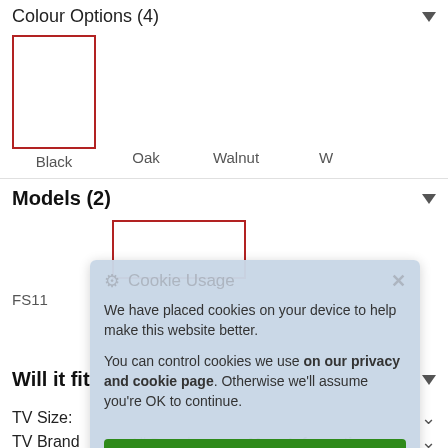Colour Options (4)
Black
Oak
Walnut
W
Models (2)
FS1...
Will it fit
TV Size:
TV Brand
All Brands
More Information
[Figure (screenshot): Cookie Usage dialog box with gear icon, close button, message about cookie placement, link to privacy and cookie page, and 'I'm fine with this' green button]
Cookie Usage
We have placed cookies on your device to help make this website better.
You can control cookies we use on our privacy and cookie page. Otherwise we'll assume you're OK to continue.
I'm fine with this